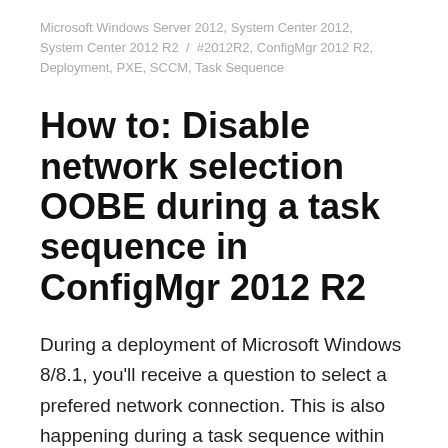Microsoft Windows Server 2012, System Center 2012, System Center 2012 R2  /  #2012R2, ConfigMgr 2012 R2, Deployment, PXE, SCCM, Task Sequence
How to: Disable network selection OOBE during a task sequence in ConfigMgr 2012 R2
During a deployment of Microsoft Windows 8/8.1, you'll receive a question to select a prefered network connection. This is also happening during a task sequence within Microsoft SCCM 2012 R2. It's easy to disable this